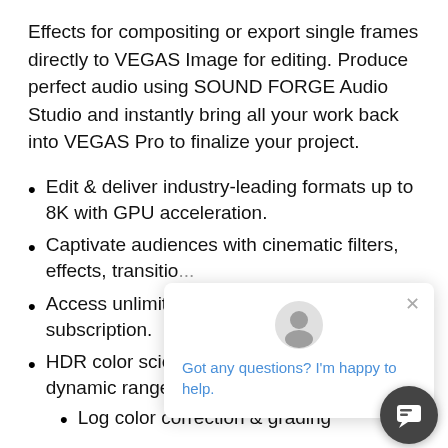Effects for compositing or export single frames directly to VEGAS Image for editing. Produce perfect audio using SOUND FORGE Audio Studio and instantly bring all your work back into VEGAS Pro to finalize your project.
Edit & deliver industry-leading formats up to 8K with GPU acceleration.
Captivate audiences with cinematic filters, effects, transitions and titles.
Access unlimited cloud services and storage with subscription.
HDR color science: Transform RAW high dynamic range footage into incredible sc
Log color correction & grading